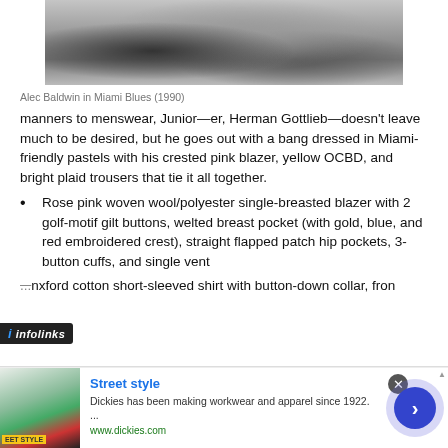[Figure (photo): Black and white photo of a classic car detail, likely a hood or fender close-up, showing chrome trim. Screenshot from Miami Blues (1990).]
Alec Baldwin in Miami Blues (1990)
manners to menswear, Junior—er, Herman Gottlieb—doesn't leave much to be desired, but he goes out with a bang dressed in Miami-friendly pastels with his crested pink blazer, yellow OCBD, and bright plaid trousers that tie it all together.
Rose pink woven wool/polyester single-breasted blazer with 2 golf-motif gilt buttons, welted breast pocket (with gold, blue, and red embroidered crest), straight flapped patch hip pockets, 3-button cuffs, and single vent
...nxford cotton short-sleeved shirt with button-down collar, fron...
[Figure (screenshot): Infolinks ad overlay with Street Style advertisement for Dickies brand. Shows a fashion photo of a woman in street style clothing. Ad text: Street style - Dickies has been making workwear and apparel since 1922. ... www.dickies.com]